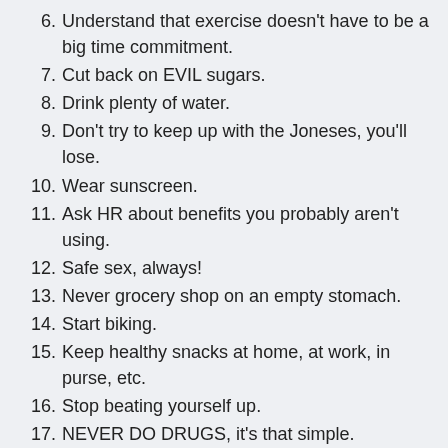6. Understand that exercise doesn't have to be a big time commitment.
7. Cut back on EVIL sugars.
8. Drink plenty of water.
9. Don't try to keep up with the Joneses, you'll lose.
10. Wear sunscreen.
11. Ask HR about benefits you probably aren't using.
12. Safe sex, always!
13. Never grocery shop on an empty stomach.
14. Start biking.
15. Keep healthy snacks at home, at work, in purse, etc.
16. Stop beating yourself up.
17. NEVER DO DRUGS, it's that simple.
18. Also never smoke.
19. Take care of your clothes.
20. Eat whole foods as much as possible.